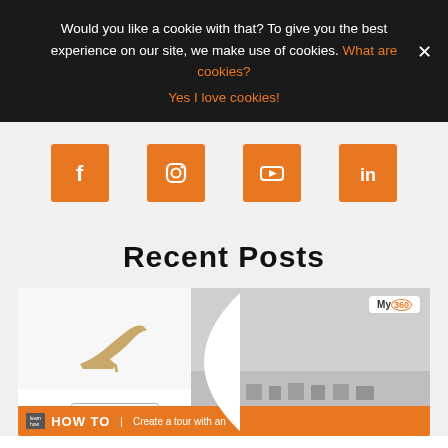Would you like a cookie with that? To give you the best experience on our site, we make use of cookies. What are cookies?
Yes I love cookies!
[Figure (infographic): Four orange square social media icons: Facebook (f), Instagram (camera circle), YouTube (play button), LinkedIn (in)]
Recent Posts
[Figure (photo): A composite image showing a shoe product page on the left (gold high-heeled sandal with 'ADD TO CART' button) and a 360 virtual tour of a shoe shop on the right with 'My360' logo. Bottom bar reads 'HOW TO | Create a tour with an']